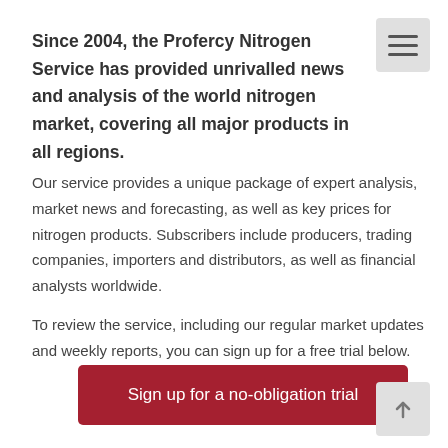Since 2004, the Profercy Nitrogen Service has provided unrivalled news and analysis of the world nitrogen market, covering all major products in all regions.
Our service provides a unique package of expert analysis, market news and forecasting, as well as key prices for nitrogen products. Subscribers include producers, trading companies, importers and distributors, as well as financial analysts worldwide.
To review the service, including our regular market updates and weekly reports, you can sign up for a free trial below.
[Figure (other): Red button labeled 'Sign up for a no-obligation trial']
[Figure (other): Light grey button labeled 'Download sample pack']